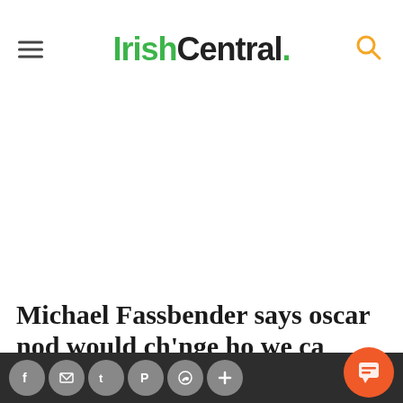IrishCentral.
[Figure (other): Large white/blank advertisement area below the header]
Michael Fassbender says oscar nod would ch'nge ho we ca...